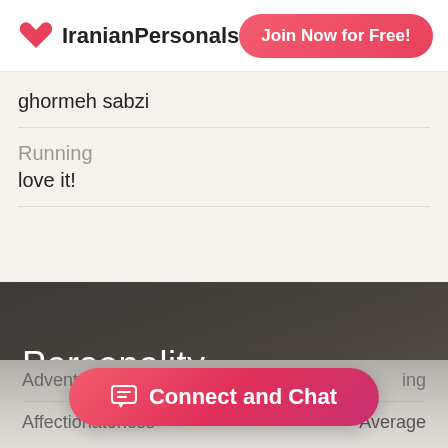IranianPersonals — Join Now for Free!
ghormeh sabzi
Running
love it!
Personality
Adventurousness — Seeking
Affectionateness — Average